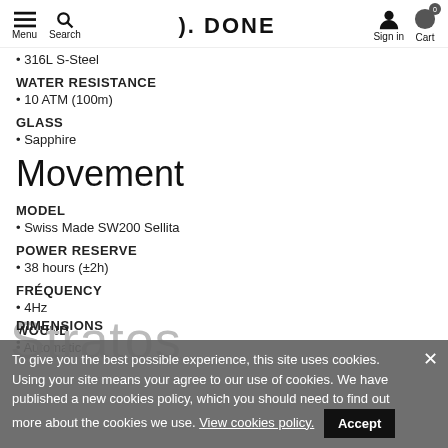Menu | Search | D. DONE | Sign in | Cart
• 316L S-Steel
WATER RESISTANCE
• 10 ATM (100m)
GLASS
• Sapphire
Movement
MODEL
• Swiss Made SW200 Sellita
POWER RESERVE
• 38 hours (±2h)
FRÉQUENCY
• 4Hz
WOUND
• Automatic
Stratos
DIMENSIONS
• more about the cookies we use.
To give you the best possible experience, this site uses cookies. Using your site means your agree to our use of cookies. We have published a new cookies policy, which you should need to find out more about the cookies we use. View cookies policy. Accept